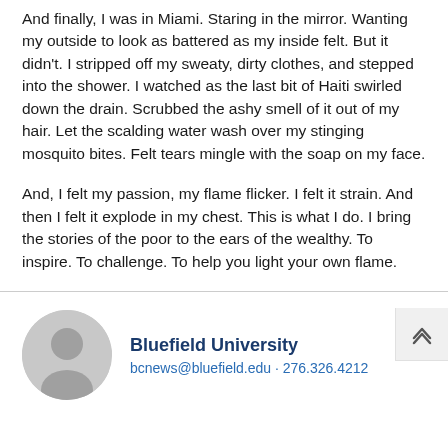And finally, I was in Miami. Staring in the mirror. Wanting my outside to look as battered as my inside felt. But it didn't. I stripped off my sweaty, dirty clothes, and stepped into the shower. I watched as the last bit of Haiti swirled down the drain. Scrubbed the ashy smell of it out of my hair. Let the scalding water wash over my stinging mosquito bites. Felt tears mingle with the soap on my face.
And, I felt my passion, my flame flicker. I felt it strain. And then I felt it explode in my chest. This is what I do. I bring the stories of the poor to the ears of the wealthy. To inspire. To challenge. To help you light your own flame.
[Figure (illustration): Scroll-to-top button with upward chevron icon, positioned top-right]
[Figure (illustration): Circular avatar placeholder icon showing a generic user silhouette in gray]
Bluefield University
bcnews@bluefield.edu • 276.326.4212